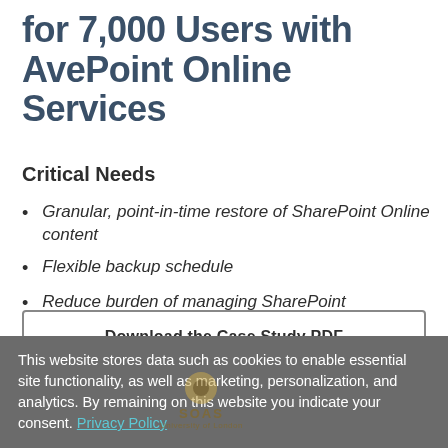for 7,000 Users with AvePoint Online Services
Critical Needs
Granular, point-in-time restore of SharePoint Online content
Flexible backup schedule
Reduce burden of managing SharePoint
Download the Case Study PDF
This website stores data such as cookies to enable essential site functionality, as well as marketing, personalization, and analytics. By remaining on this website you indicate your consent. Privacy Policy